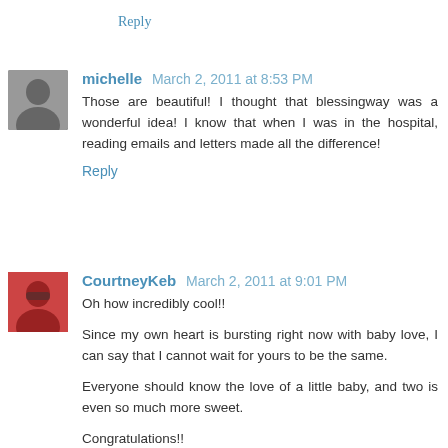Reply
michelle  March 2, 2011 at 8:53 PM
Those are beautiful! I thought that blessingway was a wonderful idea! I know that when I was in the hospital, reading emails and letters made all the difference!
Reply
CourtneyKeb  March 2, 2011 at 9:01 PM
Oh how incredibly cool!!
Since my own heart is bursting right now with baby love, I can say that I cannot wait for yours to be the same.
Everyone should know the love of a little baby, and two is even so much more sweet.
Congratulations!!